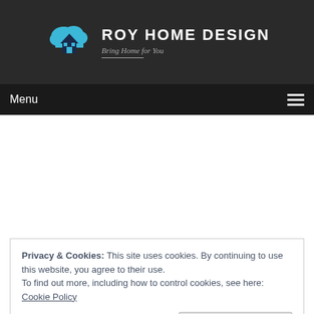[Figure (logo): Roy Home Design logo with cloud and house icon, text 'ROY HOME DESIGN' and tagline 'Bring Home for You']
Menu
Privacy & Cookies: This site uses cookies. By continuing to use this website, you agree to their use.
To find out more, including how to control cookies, see here: Cookie Policy
Close and accept